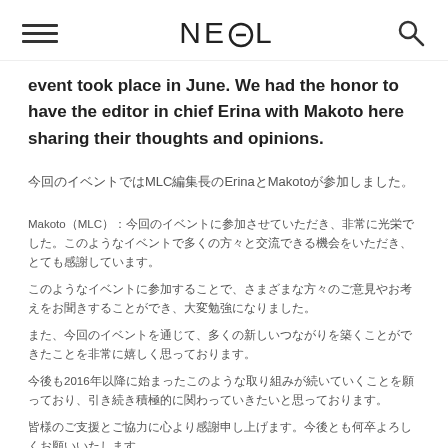NE⊙L
event took place in June. We had the honor to have the editor in chief Erina with Makoto here sharing their thoughts and opinions.
今回のイベントではMLC編集長のErinaとMakotoが参加しました。
Makoto（MLC）：今回のイベントに参加させていただき、非常に光栄でした。このようなイベントで多くの方々と交流できる機会をいただき、とても感謝しています。2016年以降、このような取り組みが広がっていることを実感しており、今後もこのような活動が続くことを願っています。引き続きよろしくお願いいたします。